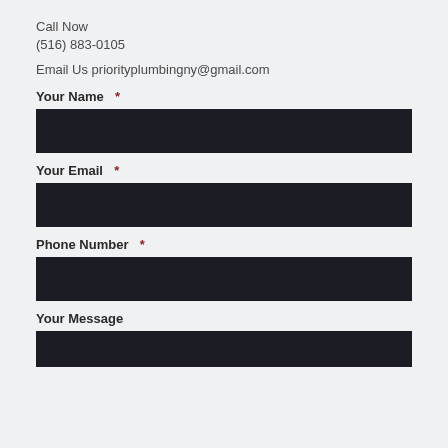Call Now
(516) 883-0105
Email Us priorityplumbingny@gmail.com
Your Name  *
[Figure (other): Dark input field for Your Name]
Your Email  *
[Figure (other): Dark input field for Your Email]
Phone Number  *
[Figure (other): Dark input field for Phone Number]
Your Message
[Figure (other): Dark input field for Your Message (partial)]